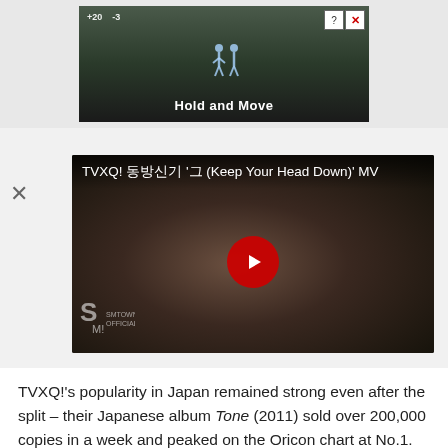[Figure (screenshot): Advertisement banner showing a game ad with text 'Hold and Move' and trees in background, with help and close buttons in top right]
[Figure (screenshot): YouTube video thumbnail for 'TVXQ! 동방신기 그것만이 (Keep Your Head Down)' MV showing a man in a suit with SMTOWN OFFICIAL logo, with a red YouTube play button in the center]
TVXQ!'s popularity in Japan remained strong even after the split – their Japanese album Tone (2011) sold over 200,000 copies in a week and peaked on the Oricon chart at No.1. The duo's Japan comeback concert tour, Tone (2012), drew in more than 550,000 people and set a new record for the largest audience in the history of TVXQ!'s tours.